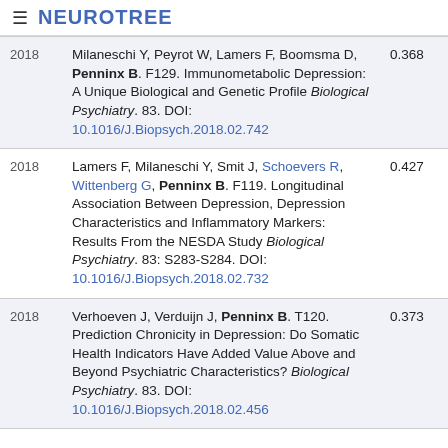NEUROTREE
| Year | Reference | Score |
| --- | --- | --- |
| 2018 | Milaneschi Y, Peyrot W, Lamers F, Boomsma D, Penninx B. F129. Immunometabolic Depression: A Unique Biological and Genetic Profile Biological Psychiatry. 83. DOI: 10.1016/J.Biopsych.2018.02.742 | 0.368 |
| 2018 | Lamers F, Milaneschi Y, Smit J, Schoevers R, Wittenberg G, Penninx B. F119. Longitudinal Association Between Depression, Depression Characteristics and Inflammatory Markers: Results From the NESDA Study Biological Psychiatry. 83: S283-S284. DOI: 10.1016/J.Biopsych.2018.02.732 | 0.427 |
| 2018 | Verhoeven J, Verduijn J, Penninx B. T120. Prediction Chronicity in Depression: Do Somatic Health Indicators Have Added Value Above and Beyond Psychiatric Characteristics? Biological Psychiatry. 83. DOI: 10.1016/J.Biopsych.2018.02.456 | 0.373 |